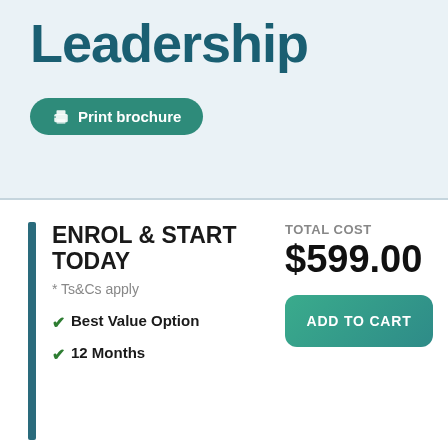Leadership
Print brochure
ENROL & START TODAY
* Ts&Cs apply
Best Value Option
12 Months
TOTAL COST
$599.00
ADD TO CART